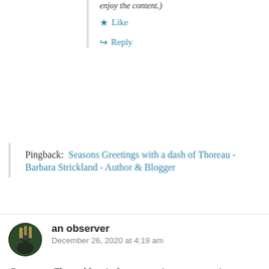enjoy the content.)
★ Like
↪ Reply
Pingback: Seasons Greetings with a dash of Thoreau - Barbara Strickland - Author & Blogger
an observer
December 26, 2020 at 4:19 am
Great post. The problem is that companies use aggressive ways of advertisements and with rising social media comparisons, we end up buying things we do not need at all. But that slight dopamine rush,